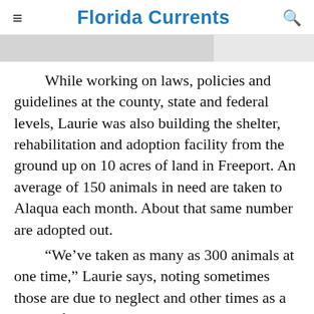Florida Currents
[Figure (photo): Partial image visible as a gray bar at the top of the content area]
While working on laws, policies and guidelines at the county, state and federal levels, Laurie was also building the shelter, rehabilitation and adoption facility from the ground up on 10 acres of land in Freeport. An average of 150 animals in need are taken to Alaqua each month. About that same number are adopted out. “We’ve taken as many as 300 animals at one time,” Laurie says, noting sometimes those are due to neglect and other times as a result of natural disasters.